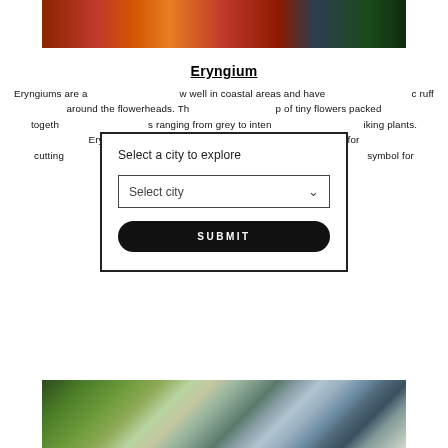[Figure (photo): Close-up photo of orange and red dahlia/chrysanthemum flowers against a dark background]
Eryngium
Eryngiums are a... w well in coastal areas and have ... ruff around the flowerheads. Th... of tiny flowers packed togeth... ranging from grey to inten... iking plants. Eryngiums make... flowerheads are great for cutting ... angements. They are native t... symbol for admiration, independence, serenity and attraction.
[Figure (screenshot): Modal popup with 'Select a city to explore' label, a 'Select city' dropdown, and a black SUBMIT button]
[Figure (photo): Close-up photo of eryngium/sea holly flowers with spiky blue-green bracts and small white flowers]